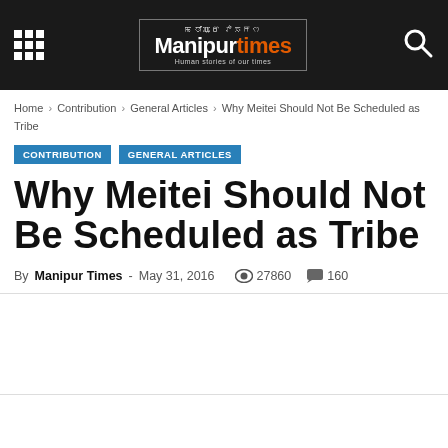Manipur times — Human stories of our times
Home › Contribution › General Articles › Why Meitei Should Not Be Scheduled as Tribe
CONTRIBUTION   GENERAL ARTICLES
Why Meitei Should Not Be Scheduled as Tribe
By Manipur Times - May 31, 2016   27860   160